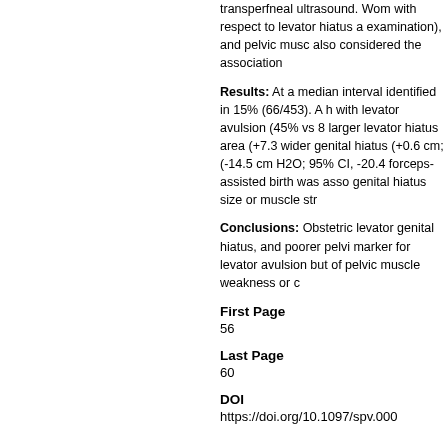transperfneal ultrasound. Wom with respect to levator hiatus a examination), and pelvic musc also considered the association
Results: At a median interval identified in 15% (66/453). A h with levator avulsion (45% vs 8 larger levator hiatus area (+7.3 wider genital hiatus (+0.6 cm; (-14.5 cm H2O; 95% CI, -20.4 forceps-assisted birth was asso genital hiatus size or muscle str
Conclusions: Obstetric levator genital hiatus, and poorer pelvi marker for levator avulsion but of pelvic muscle weakness or c
First Page
56
Last Page
60
DOI
https://doi.org/10.1097/spv.000